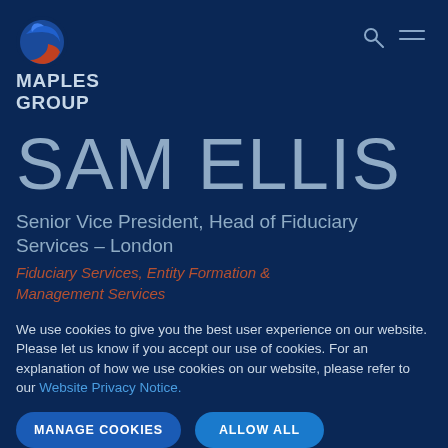[Figure (logo): Maples Group logo with circular icon (blue and red/orange globe) and text MAPLES GROUP]
SAM ELLIS
Senior Vice President, Head of Fiduciary Services – London
Fiduciary Services, Entity Formation & Management Services
We use cookies to give you the best user experience on our website. Please let us know if you accept our use of cookies. For an explanation of how we use cookies on our website, please refer to our Website Privacy Notice.
MANAGE COOKIES
ALLOW ALL